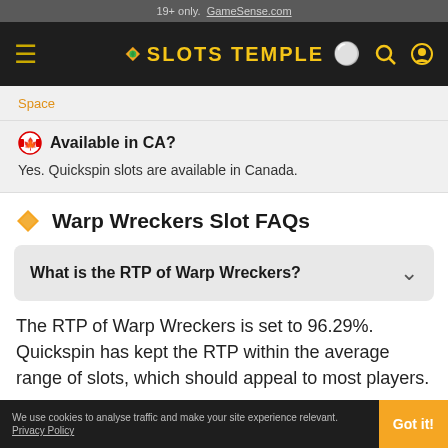19+ only. GameSense.com
[Figure (screenshot): Slots Temple navigation bar with hamburger menu, logo with gem icon, search and account icons on dark background]
Space
Available in CA?
Yes. Quickspin slots are available in Canada.
Warp Wreckers Slot FAQs
What is the RTP of Warp Wreckers?
The RTP of Warp Wreckers is set to 96.29%. Quickspin has kept the RTP within the average range of slots, which should appeal to most players.
We use cookies to analyse traffic and make your site experience relevant. Privacy Policy  Got it!